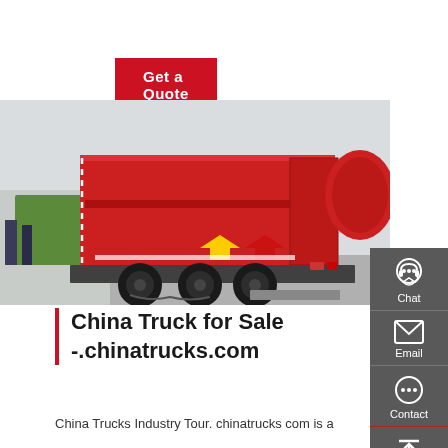Get a Quote
[Figure (photo): Red garbage/compactor truck photographed from the rear-left angle in an outdoor lot. The truck is a large multi-axle vehicle with a bright red compactor body, yellow and red reflective warning chevrons on the rear, heavy-duty tires, and chains visible underneath. A green truck and people are visible in the background.]
China Truck for Sale -.chinatrucks.com
China Trucks Industry Tour. chinatrucks com is a